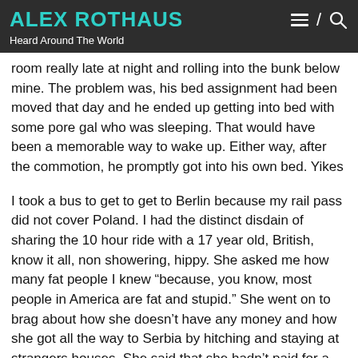ALEX ROTHAUS
Heard Around The World
room really late at night and rolling into the bunk below mine. The problem was, his bed assignment had been moved that day and he ended up getting into bed with some pore gal who was sleeping. That would have been a memorable way to wake up. Either way, after the commotion, he promptly got into his own bed. Yikes
I took a bus to get to get to Berlin because my rail pass did not cover Poland. I had the distinct disdain of sharing the 10 hour ride with a 17 year old, British, know it all, non showering, hippy. She asked me how many fat people I knew “because, you know, most people in America are fat and stupid.” She went on to brag about how she doesn’t have any money and how she got all the way to Serbia by hitching and staying at strangers houses. She said that she hadn’t paid for a single meal in 2 months. Promptly after that, she began to solicit me for food and money, but not directly, building a guilty case. I asked her why she was on a bus at the moment.